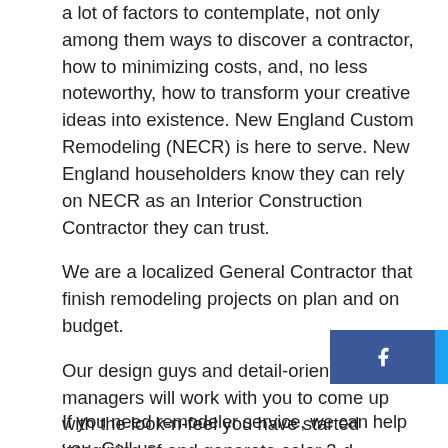a lot of factors to contemplate, not only among them ways to discover a contractor, how to minimizing costs, and, no less noteworthy, how to transform your creative ideas into existence. New England Custom Remodeling (NECR) is here to serve. New England householders know they can rely on NECR as an Interior Construction Contractor they can trust.

We are a localized General Contractor that finish remodeling projects on plan and on budget.

Our design guys and detail-oriented project managers will work with you to come up with the look-n-feel you have started imagining of and generate color 3-d imagery that brings your viewpoints to li
[Figure (infographic): Social media share buttons bar with Facebook (dark blue), Twitter (light blue), LinkedIn (medium blue), and Pinterest (red) icons]
If you need remodeler service, we can help you. Call us